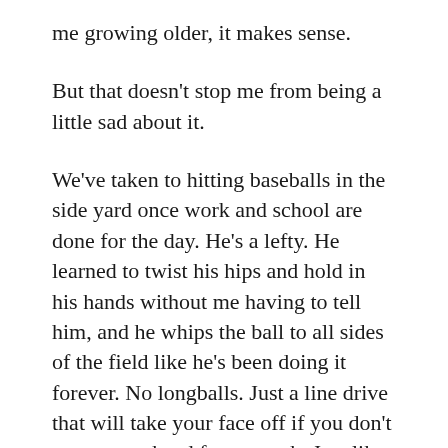me growing older, it makes sense.
But that doesn't stop me from being a little sad about it.
We've taken to hitting baseballs in the side yard once work and school are done for the day. He's a lefty. He learned to twist his hips and hold in his hands without me having to tell him, and he whips the ball to all sides of the field like he's been doing it forever. No longballs. Just a line drive that will take your face off if you don't move your head fast enough. Just like his dad. My mind tells me he looks like Ted Williams when he swings, but I'm biased. I don't really know.
I try to tell him how happy it makes me to see him enjoying something. It doesn't have to be baseball. It could be some other sport or no other sport, so long as he loves something for the same reason that it brings